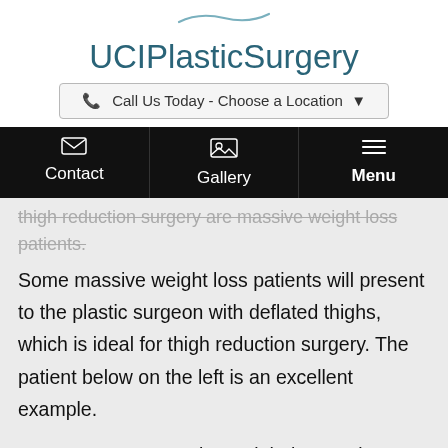[Figure (logo): UCI Plastic Surgery logo with swoosh graphic above text]
Call Us Today - Choose a Location
[Figure (screenshot): Navigation bar with Contact, Gallery, Menu icons on black background]
thigh reduction surgery are massive weight loss patients. Some massive weight loss patients will present to the plastic surgeon with deflated thighs, which is ideal for thigh reduction surgery.  The patient below on the left is an excellent example.
However, most massive weight loss patients will present with thighs that are still full despite stabilizing their weight loss.  The patient below on the right is an example of this